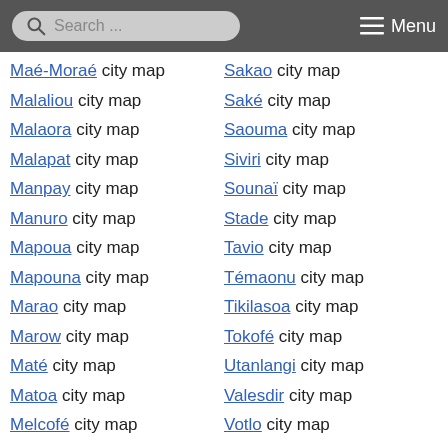Search ... Menu
Maé-Moraé city map | Sakao city map
Malaliou city map | Saké city map
Malaora city map | Saouma city map
Malapat city map | Siviri city map
Manpay city map | Sounaï city map
Manuro city map | Stade city map
Mapoua city map | Tavio city map
Mapouna city map | Témaonu city map
Marao city map | Tikilasoa city map
Marow city map | Tokofé city map
Maté city map | Utanlangi city map
Matoa city map | Valesdir city map
Melcofé city map | Votlo city map
Mele city map | Vovo city map